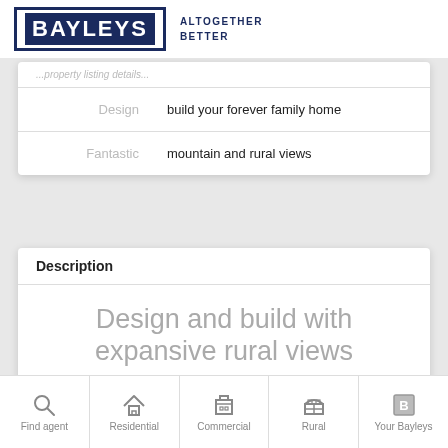BAYLEYS ALTOGETHER BETTER
| Label | Value |
| --- | --- |
| Design | build your forever family home |
| Fantastic | mountain and rural views |
Description
Design and build with expansive rural views
Find agent | Residential | Commercial | Rural | Your Bayleys